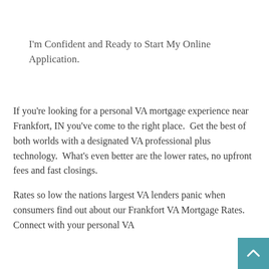I'm Confident and Ready to Start My Online Application.
If you're looking for a personal VA mortgage experience near Frankfort, IN you've come to the right place.  Get the best of both worlds with a designated VA professional plus technology.  What's even better are the lower rates, no upfront fees and fast closings.
Rates so low the nations largest VA lenders panic when consumers find out about our Frankfort VA Mortgage Rates. Connect with your personal VA